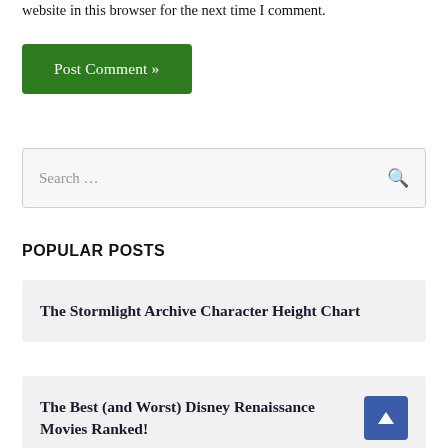website in this browser for the next time I comment.
Post Comment »
Search …
POPULAR POSTS
The Stormlight Archive Character Height Chart
The Best (and Worst) Disney Renaissance Movies Ranked!